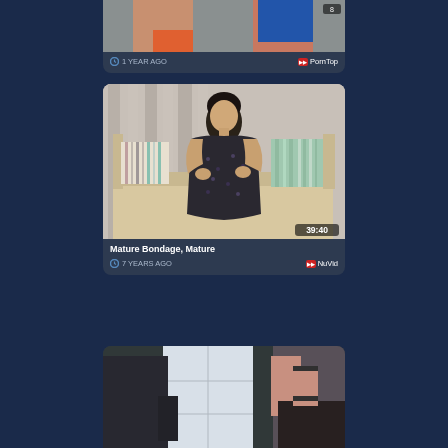[Figure (screenshot): Video thumbnail card 1 - partial view at top, showing '1 YEAR AGO' and 'PornTop' source]
[Figure (screenshot): Video thumbnail card 2 - woman in dark floral dress on couch, duration 39:40, titled 'Mature Bondage, Mature', 7 YEARS AGO, NuVid source]
[Figure (screenshot): Video thumbnail card 3 - partial view at bottom, showing two people in dim room]